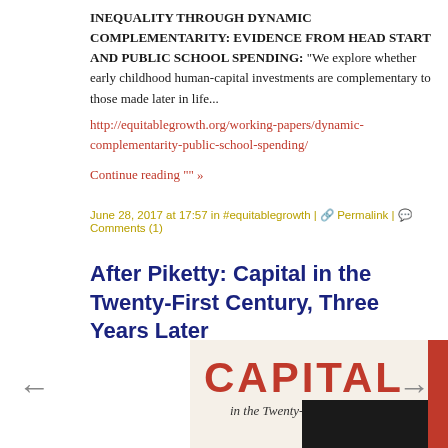INEQUALITY THROUGH DYNAMIC COMPLEMENTARITY: EVIDENCE FROM HEAD START AND PUBLIC SCHOOL SPENDING: "We explore whether early childhood human-capital investments are complementary to those made later in life...
http://equitablegrowth.org/working-papers/dynamic-complementarity-public-school-spending/
Continue reading "" »
June 28, 2017 at 17:57 in #equitablegrowth | Permalink | Comments (1)
After Piketty: Capital in the Twenty-First Century, Three Years Later
[Figure (photo): Book cover of 'Capital in the Twenty-First Century' showing red text on white/cream background with a dark overlay partially covering the lower portion]